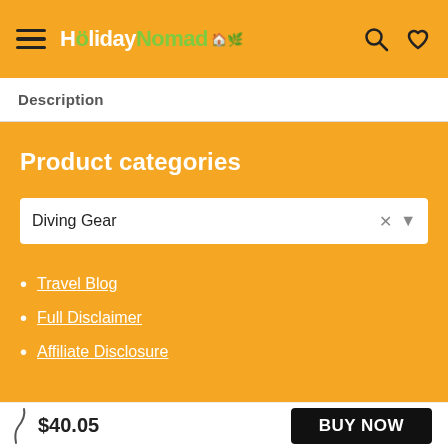HolidayNomad [logo with hamburger menu, search and heart icons]
Description
Product categories
Diving Gear
Travel Blog
Full Disclaimer
Affiliate Disclosure
$40.05  BUY NOW